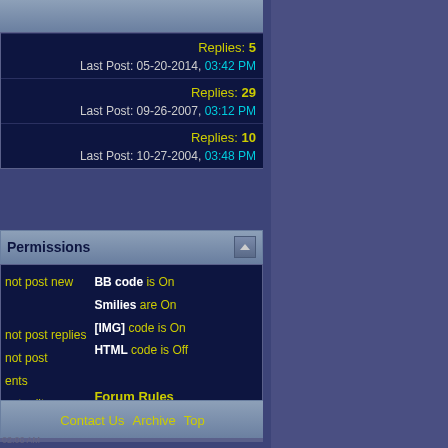Replies: 5
Last Post: 05-20-2014, 03:42 PM
Replies: 29
Last Post: 09-26-2007, 03:12 PM
Replies: 10
Last Post: 10-27-2004, 03:48 PM
Permissions
not post new
not post replies
not post ents
not edit your
BB code is On
Smilies are On
[IMG] code is On
HTML code is Off
Forum Rules
Contact Us  Archive  Top